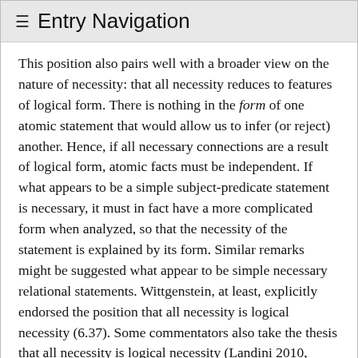≡  Entry Navigation
This position also pairs well with a broader view on the nature of necessity: that all necessity reduces to features of logical form. There is nothing in the form of one atomic statement that would allow us to infer (or reject) another. Hence, if all necessary connections are a result of logical form, atomic facts must be independent. If what appears to be a simple subject-predicate statement is necessary, it must in fact have a more complicated form when analyzed, so that the necessity of the statement is explained by its form. Similar remarks might be suggested what appear to be simple necessary relational statements. Wittgenstein, at least, explicitly endorsed the position that all necessity is logical necessity (6.37). Some commentators also take the thesis that all necessity is logical necessity (Landini 2010, chap. 4; 2018), or the thesis that de re modality is to be rejected in favor of de dicto necessity (Cocchiarella 2007, chap. 3), to be key to Russell's logical atomism as well.
Russell's precise positions on these matters is not as clear